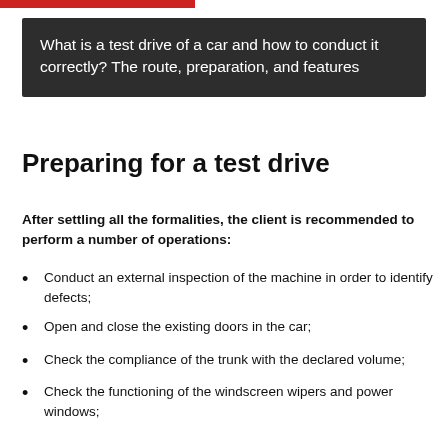What is a test drive of a car and how to conduct it correctly? The route, preparation, and features
Preparing for a test drive
After settling all the formalities, the client is recommended to perform a number of operations:
Conduct an external inspection of the machine in order to identify defects;
Open and close the existing doors in the car;
Check the compliance of the trunk with the declared volume;
Check the functioning of the windscreen wipers and power windows;